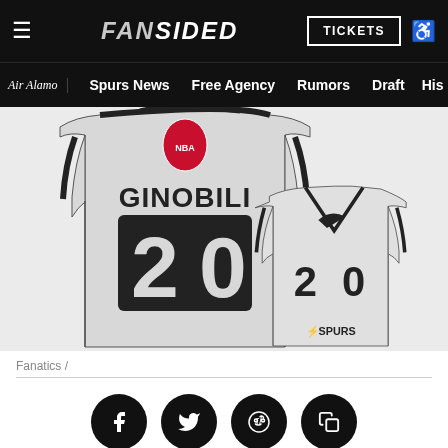FanSided — Navigation bar with TICKETS button
Air Alamo | Spurs News | Free Agency | Rumors | Draft | His...
[Figure (photo): San Antonio Spurs #20 Ginobili basketball jerseys — back and front view, grey/white with black trim, showing number 20 and the Spurs logo on the front jersey.]
Fanatics /
Social sharing icons: Facebook, Twitter, Reddit, Copy